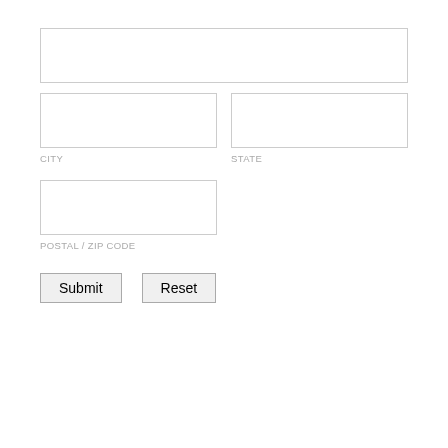[Figure (screenshot): A web form fragment showing address input fields: a full-width text input at top, two side-by-side text inputs labeled CITY and STATE, a half-width text input labeled POSTAL / ZIP CODE, and Submit and Reset buttons.]
CITY
STATE
POSTAL / ZIP CODE
Submit
Reset